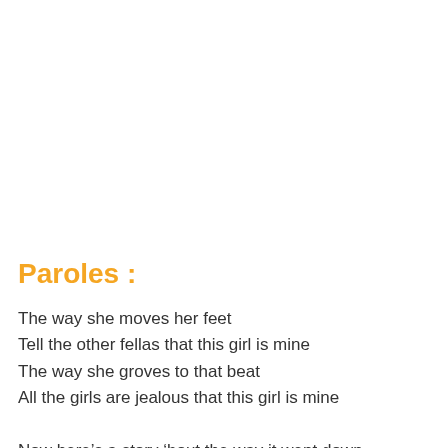Paroles :
The way she moves her feet
Tell the other fellas that this girl is mine
The way she groves to that beat
All the girls are jealous that this girl is mine

Now here's a story 'bout the way it went down
See I was hearing 'bout the people talking way over town
Said there's a place that you can visit but you gotta be rad